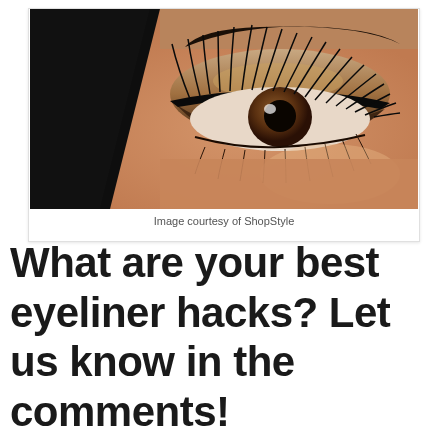[Figure (photo): Close-up photo of a woman's eye with dramatic eye makeup including thick eyeliner and long false lashes, dark eyebrow visible at top, warm skin tone]
Image courtesy of ShopStyle
What are your best eyeliner hacks? Let us know in the comments!